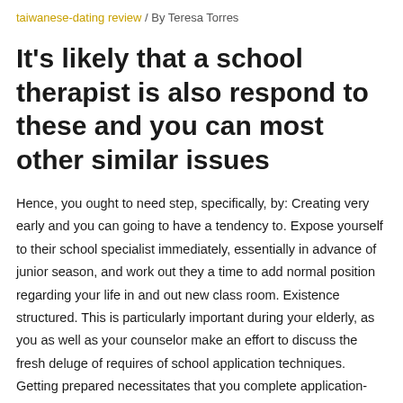taiwanese-dating review / By Teresa Torres
It’s likely that a school therapist is also respond to these and you can most other similar issues
Hence, you ought to need step, specifically, by: Creating very early and you can going to have a tendency to. Expose yourself to their school specialist immediately, essentially in advance of junior season, and work out they a time to add normal position regarding your life in and out new class room. Existence structured. This is particularly important during your elderly, as you as well as your counselor make an effort to discuss the fresh deluge of requires of school application techniques. Getting prepared necessitates that you complete application-related tasks timely and provide your own therapist along with the information she must fill in a secondary school declaration, letter(s) away from recommendation, and just